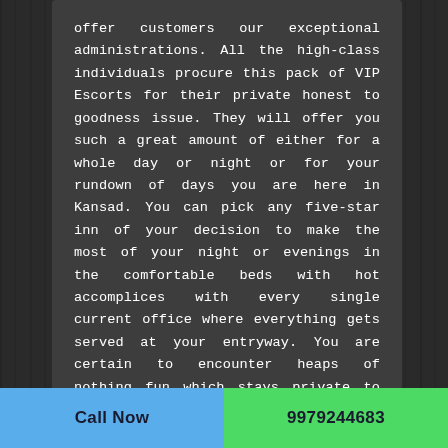offer customers our exceptional administrations. All the high-class individuals procure this pack of VIP Escorts for their private honest to goodness issue. They will offer you such a great amount of either for a whole day or night or for your rundown of days you are here in Kansad. You can pick any five-star inn of your decision to make the most of your night or evenings in the comfortable beds with hot accomplices with every single current office where everything gets served at your entryway. You are certain to encounter heaps of nothing fun which stays private to only the both of you. You can contact us at your office or send us an email or WhatsApp us of your reservations, if any.
Call Now
9979244683